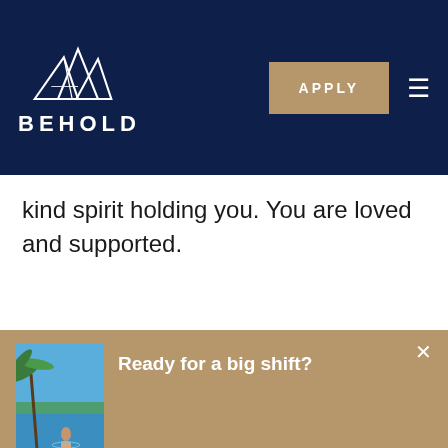BEHOLD
kind spirit holding you. You are loved and supported.
Ready for a big shift?
[Figure (photo): Person standing in infinity pool with tropical landscape and sky in background]
Elevate your mind, body, and spirit in a safe, legal, and therapeutic setting in idyllic retreats in Costa Rica, Mexico, and Portugal.
View Our Retreats